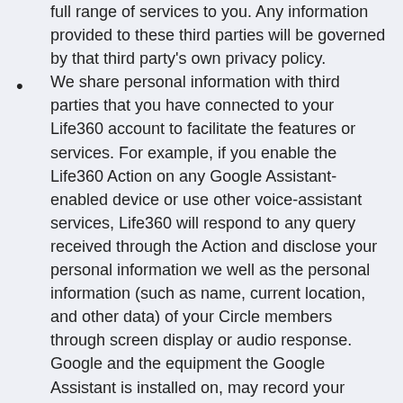full range of services to you. Any information provided to these third parties will be governed by that third party's own privacy policy.
We share personal information with third parties that you have connected to your Life360 account to facilitate the features or services. For example, if you enable the Life360 Action on any Google Assistant-enabled device or use other voice-assistant services, Life360 will respond to any query received through the Action and disclose your personal information we well as the personal information (such as name, current location, and other data) of your Circle members through screen display or audio response. Google and the equipment the Google Assistant is installed on, may record your interactions with the Action and the response data in accordance with your agreements with Google. You are solely responsible for the use of the Life360 Action to access information about your Circle members on your Assistant-enabled devices